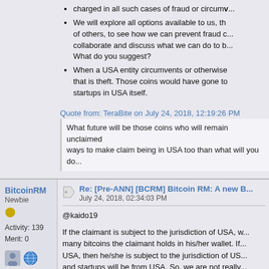charged in all such cases of fraud or circumv...
We will explore all options available to us, th... of others, to see how we can prevent fraud c... collaborate and discuss what we can do to b... What do you suggest?
When a USA entity circumvents or otherwise... that is theft. Those coins would have gone to... startups in USA itself.
Quote from: TeraBite on July 24, 2018, 12:19:26 PM
What future will be those coins who will remain unclaimed... ways to make claim being in USA too than what will you do...
BitcoinRM
Newbie
Activity: 139
Merit: 0
Re: [Pre-ANN] [BCRM] Bitcoin RM: A new B...
July 24, 2018, 02:34:03 PM
@kaido19
If the claimant is subject to the jurisdiction of USA, w... many bitcoins the claimant holds in his/her wallet. If... USA, then he/she is subject to the jurisdiction of US... and startups will be from USA. So, we are not really... us.
If the claimant is not subject to the jurisdiction of US...